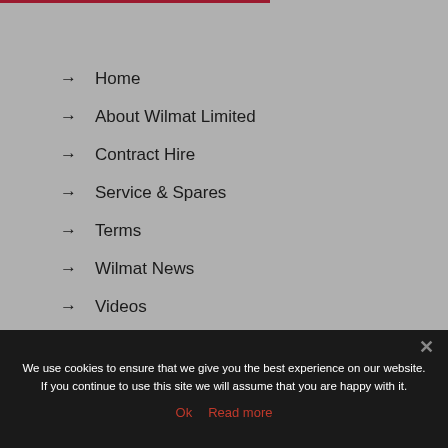Home
About Wilmat Limited
Contract Hire
Service & Spares
Terms
Wilmat News
Videos
FAQs
We use cookies to ensure that we give you the best experience on our website. If you continue to use this site we will assume that you are happy with it.
Ok   Read more